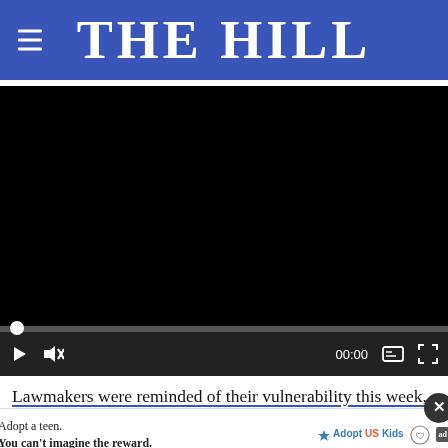THE HILL
[Figure (screenshot): Embedded video player with black screen, progress bar, and controls showing play button, mute button, timestamp 00:00, captions button, and fullscreen button]
Lawmakers were reminded of their vulnerability this week, when five more members of the House tested positive for COVID-19, bringing the total number of infected [lemic hit the
[Figure (other): Advertisement banner: Adopt a teen. You can't imagine the reward. Adopt US Kids logo and HHS/ad badge icons. With close X button overlay.]